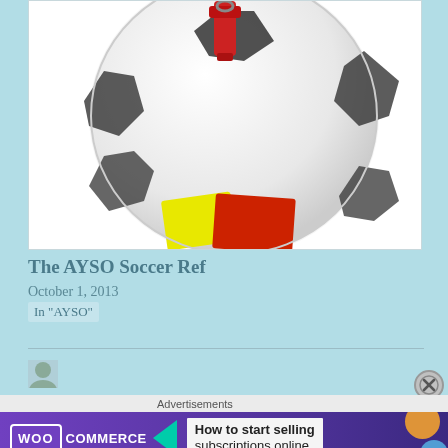[Figure (photo): A soccer ball with a red whistle on top and yellow and red referee cards beneath it, on a white background]
The AYSO Soccer Ref
October 1, 2013
In "AYSO"
[Figure (photo): Small avatar/profile image partially visible at bottom left]
[Figure (other): WooCommerce advertisement banner: 'How to start selling subscriptions online']